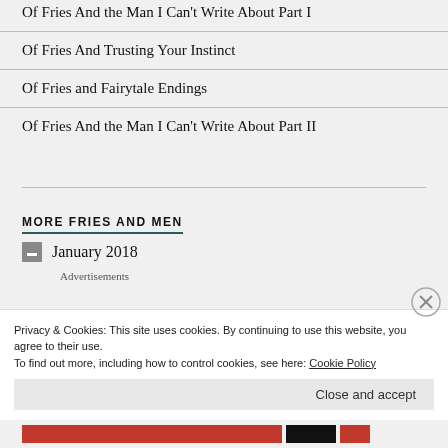Of Fries And the Man I Can't Write About Part I
Of Fries And Trusting Your Instinct
Of Fries and Fairytale Endings
Of Fries And the Man I Can't Write About Part II
MORE FRIES AND MEN
January 2018
Advertisements
Privacy & Cookies: This site uses cookies. By continuing to use this website, you agree to their use.
To find out more, including how to control cookies, see here: Cookie Policy
Close and accept